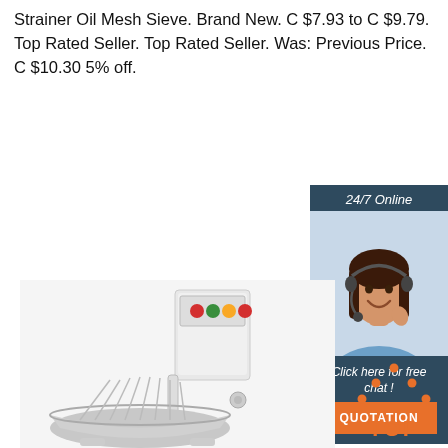Strainer Oil Mesh Sieve. Brand New. C $7.93 to C $9.79. Top Rated Seller. Top Rated Seller. Was: Previous Price. C $10.30 5% off.
[Figure (other): Orange 'Get Price' button]
[Figure (photo): 24/7 Online chat widget with a woman wearing a headset and text 'Click here for free chat! QUOTATION']
[Figure (photo): Commercial spiral dough mixer machine with stainless steel bowl and colored control buttons]
[Figure (logo): Orange TOP icon with dots arranged in a triangle above the word TOP]